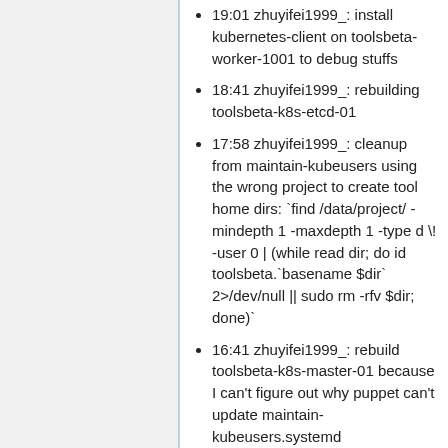19:01 zhuyifei1999_: install kubernetes-client on toolsbeta-worker-1001 to debug stuffs
18:41 zhuyifei1999_: rebuilding toolsbeta-k8s-etcd-01
17:58 zhuyifei1999_: cleanup from maintain-kubeusers using the wrong project to create tool home dirs: `find /data/project/ -mindepth 1 -maxdepth 1 -type d \! -user 0 | (while read dir; do id toolsbeta.`basename $dir` 2>/dev/null || sudo rm -rfv $dir; done)`
16:41 zhuyifei1999_: rebuild toolsbeta-k8s-master-01 because I can't figure out why puppet can't update maintain-kubeusers.systemd
2018-05-06
04:06 zhuyifei1999_: locally patched `/usr/lib/python2.7/dist-